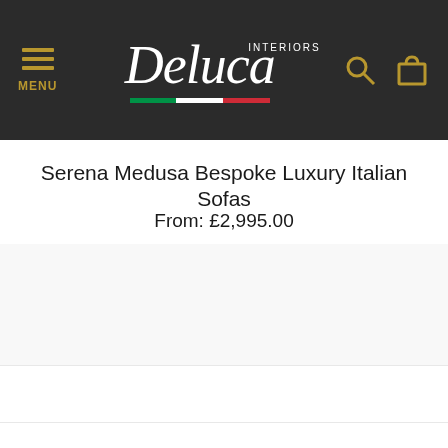[Figure (screenshot): Deluca Interiors website navigation bar with hamburger menu icon labeled MENU on the left, Deluca Interiors script logo with Italian flag tricolor strip in the center, and search and shopping bag icons on the right, all on a dark charcoal background.]
Serena Medusa Bespoke Luxury Italian Sofas
From: £2,995.00
[Figure (photo): White/blank product image area for the sofa listing]
FILTER PRODUCTS